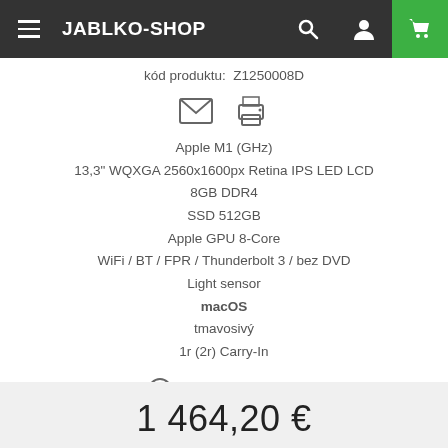JABLKO-SHOP
kód produktu:  Z1250008D
[Figure (illustration): Email and printer icons]
Apple M1 (GHz)
13,3" WQXGA 2560x1600px Retina IPS LED LCD
8GB DDR4
SSD 512GB
Apple GPU 8-Core
WiFi / BT / FPR / Thunderbolt 3 / bez DVD
Light sensor
macOS
tmavosivý
1r (2r) Carry-In
VIAC INFORMÁCIÍ
1 464,20 €